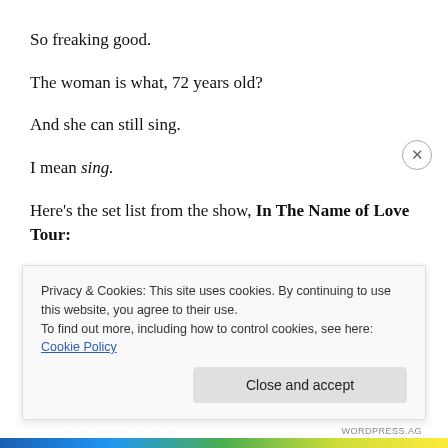So freaking good.
The woman is what, 72 years old?
And she can still sing.
I mean sing.
Here’s the set list from the show, In The Name of Love Tour:
“Overture”
Privacy & Cookies: This site uses cookies. By continuing to use this website, you agree to their use.
To find out more, including how to control cookies, see here: Cookie Policy